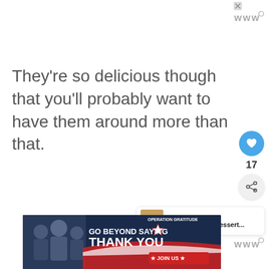[Figure (other): Watermark/logo text 'www' with superscript circle at top right]
They're so delicious though that you'll probably want to have them around more than that.
[Figure (other): Like button (heart icon) in blue circle showing count 17]
[Figure (other): Share button (share icon) in light gray circle]
[Figure (other): What's Next promo card with thumbnail and text '24 Easy Indian Dessert...']
[Figure (other): Advertisement banner: GO BEYOND SAYING THANK YOU - Operation Gratitude JOIN US]
[Figure (other): Watermark/logo text 'www' with superscript circle at bottom right]